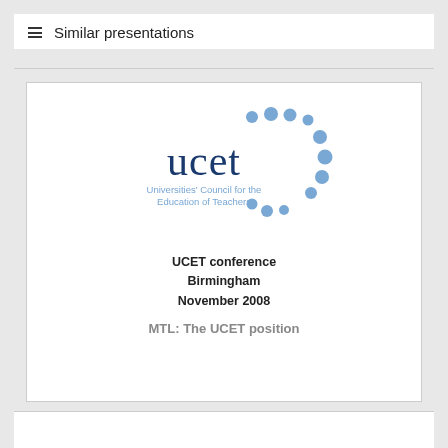≡ Similar presentations
[Figure (screenshot): UCET (Universities' Council for the Education of Teachers) presentation slide thumbnail showing the UCET logo with blue dots pattern, and text: UCET conference Birmingham November 2008 MTL: The UCET position]